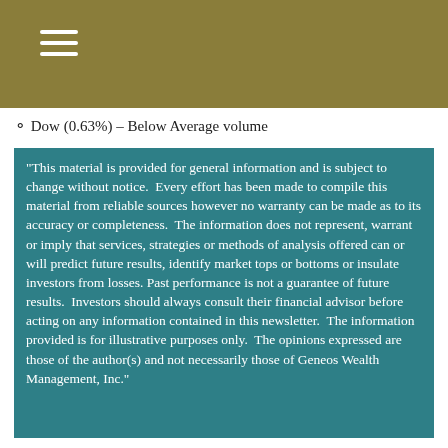○ Dow (0.63%) – Below Average volume
"This material is provided for general information and is subject to change without notice.  Every effort has been made to compile this material from reliable sources however no warranty can be made as to its accuracy or completeness.  The information does not represent, warrant or imply that services, strategies or methods of analysis offered can or will predict future results, identify market tops or bottoms or insulate investors from losses. Past performance is not a guarantee of future results.  Investors should always consult their financial advisor before acting on any information contained in this newsletter.  The information provided is for illustrative purposes only.  The opinions expressed are those of the author(s) and not necessarily those of Geneos Wealth Management, Inc."